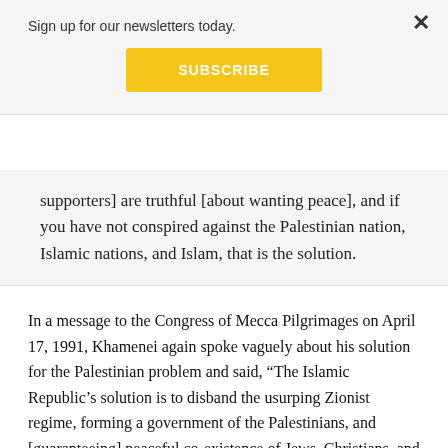Sign up for our newsletters today.
[Figure (other): Yellow Subscribe button]
supporters] are truthful [about wanting peace], and if you have not conspired against the Palestinian nation, Islamic nations, and Islam, that is the solution.
In a message to the Congress of Mecca Pilgrimages on April 17, 1991, Khamenei again spoke vaguely about his solution for the Palestinian problem and said, “The Islamic Republic’s solution is to disband the usurping Zionist regime, forming a government of the Palestinians, and [guaranteeing] peaceful co-existence of Jews, Christians, and Muslims in all of Palestine.”